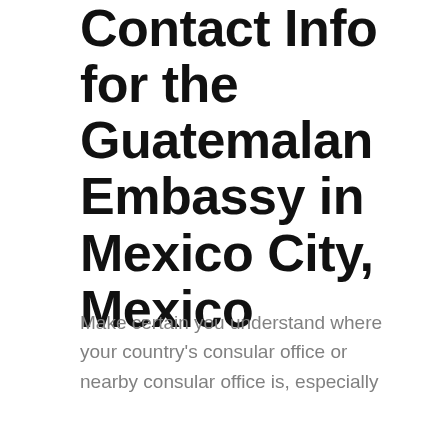Contact Info for the Guatemalan Embassy in Mexico City, Mexico
Make certain you understand where your country's consular office or nearby consular office is, especially